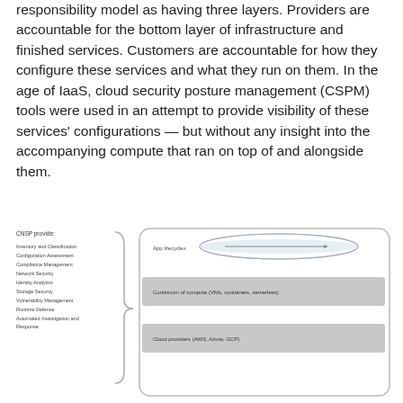responsibility model as having three layers. Providers are accountable for the bottom layer of infrastructure and finished services. Customers are accountable for how they configure these services and what they run on them. In the age of IaaS, cloud security posture management (CSPM) tools were used in an attempt to provide visibility of these services' configurations — but without any insight into the accompanying compute that ran on top of and alongside them.
[Figure (infographic): Diagram showing CNSP provides list on the left (Inventory and Classification, Configuration Assessment, Compliance Management, Network Security, Identity Analytics, Storage Security, Vulnerability Management, Runtime Defense, Automated Investigation and Response) with a curly brace pointing to a layered diagram on the right showing three layers: App lifecycles (top, ellipse shape), Continuum of compute (VMs, containers, serverless) (middle, grey bar), Cloud providers (AWS, Azure, GCP) (bottom, grey bar), all enclosed in a rounded rectangle.]